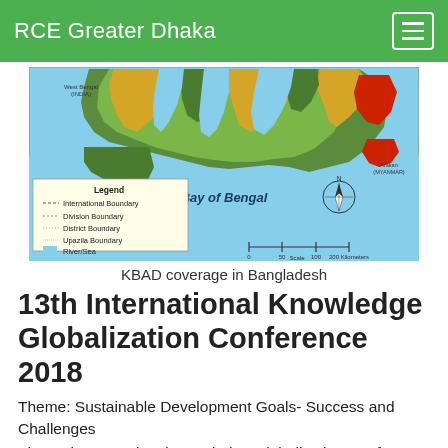RCE Greater Dhaka
[Figure (map): Map of Bangladesh showing KBAD coverage with colored regions indicating different administrative boundaries, rivers, and the Bay of Bengal. Legend shows International Boundary, Division Boundary, District Boundary, Upazila Boundary, and River/Sea. Scale bar and compass rose included.]
KBAD coverage in Bangladesh
13th International Knowledge Globalization Conference 2018
Theme: Sustainable Development Goals- Success and Challenges
The 13th International Knowledge Globalization Conference 2018 on the theme- Sustainable